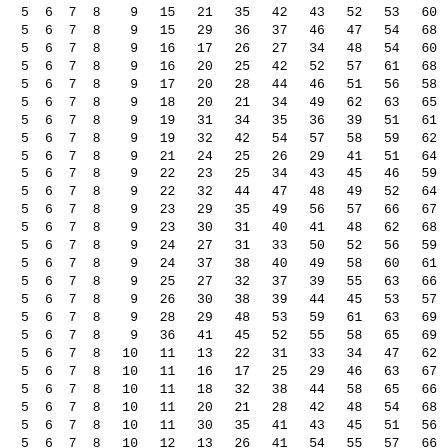| 5 | 6 | 7 | 8 | 9 | 15 | 21 | 35 | 42 | 43 | 52 | 53 | 60 |
| 5 | 6 | 7 | 8 | 9 | 15 | 29 | 36 | 37 | 46 | 47 | 54 | 68 |
| 5 | 6 | 7 | 8 | 9 | 16 | 17 | 26 | 27 | 34 | 48 | 54 | 60 |
| 5 | 6 | 7 | 8 | 9 | 16 | 20 | 25 | 42 | 52 | 57 | 61 | 68 |
| 5 | 6 | 7 | 8 | 9 | 17 | 20 | 28 | 44 | 46 | 51 | 56 | 58 |
| 5 | 6 | 7 | 8 | 9 | 18 | 20 | 21 | 34 | 49 | 62 | 63 | 65 |
| 5 | 6 | 7 | 8 | 9 | 19 | 31 | 34 | 35 | 36 | 39 | 51 | 61 |
| 5 | 6 | 7 | 8 | 9 | 19 | 32 | 42 | 54 | 57 | 58 | 59 | 62 |
| 5 | 6 | 7 | 8 | 9 | 21 | 24 | 25 | 26 | 29 | 41 | 51 | 64 |
| 5 | 6 | 7 | 8 | 9 | 22 | 23 | 25 | 34 | 43 | 45 | 46 | 59 |
| 5 | 6 | 7 | 8 | 9 | 22 | 32 | 44 | 47 | 48 | 49 | 52 | 64 |
| 5 | 6 | 7 | 8 | 9 | 23 | 29 | 35 | 49 | 56 | 57 | 66 | 67 |
| 5 | 6 | 7 | 8 | 9 | 23 | 30 | 31 | 40 | 41 | 48 | 62 | 68 |
| 5 | 6 | 7 | 8 | 9 | 24 | 27 | 31 | 33 | 50 | 52 | 56 | 59 |
| 5 | 6 | 7 | 8 | 9 | 24 | 37 | 38 | 40 | 49 | 58 | 60 | 61 |
| 5 | 6 | 7 | 8 | 9 | 25 | 27 | 32 | 37 | 39 | 55 | 63 | 66 |
| 5 | 6 | 7 | 8 | 9 | 26 | 30 | 38 | 39 | 44 | 45 | 53 | 57 |
| 5 | 6 | 7 | 8 | 9 | 28 | 29 | 48 | 53 | 59 | 61 | 63 | 69 |
| 5 | 6 | 7 | 8 | 9 | 36 | 41 | 45 | 52 | 55 | 58 | 65 | 69 |
| 5 | 6 | 7 | 8 | 10 | 11 | 13 | 22 | 31 | 33 | 34 | 47 | 62 |
| 5 | 6 | 7 | 8 | 10 | 11 | 16 | 17 | 25 | 29 | 46 | 63 | 67 |
| 5 | 6 | 7 | 8 | 10 | 11 | 18 | 32 | 38 | 44 | 58 | 65 | 66 |
| 5 | 6 | 7 | 8 | 10 | 11 | 20 | 21 | 28 | 42 | 48 | 54 | 68 |
| 5 | 6 | 7 | 8 | 10 | 11 | 30 | 35 | 41 | 43 | 45 | 51 | 56 |
| 5 | 6 | 7 | 8 | 10 | 12 | 13 | 26 | 41 | 54 | 55 | 57 | 66 |
| 5 | 6 | 7 | 8 | 10 | 12 | 14 | 20 | 25 | 44 | 45 | 64 | 69 |
| 5 | 6 | 7 | 8 | 10 | 12 | 16 | 19 | 34 | 49 | 52 | 56 | 58 |
| 5 | 6 | 7 | 8 | 10 | 12 | 17 | 22 | 24 | 40 | 48 | 51 | 59 |
| 5 | 6 | 7 | 8 | 10 | 13 | 14 | 15 | 18 | 30 | 40 | 53 | 63 |
| 5 | 6 | 7 | 8 | 10 | 13 | 16 | 23 | 27 | 32 | 59 | 64 | 68 |